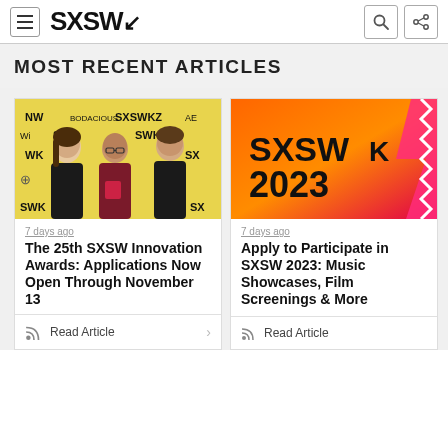SXSW
MOST RECENT ARTICLES
[Figure (photo): Three women posing in front of a yellow SXSW branded step-and-repeat backdrop; the woman in the middle is holding a red award trophy.]
7 days ago
The 25th SXSW Innovation Awards: Applications Now Open Through November 13
Read Article
[Figure (photo): SXSW 2023 logo on orange and pink gradient background with zigzag edge effect.]
7 days ago
Apply to Participate in SXSW 2023: Music Showcases, Film Screenings & More
Read Article